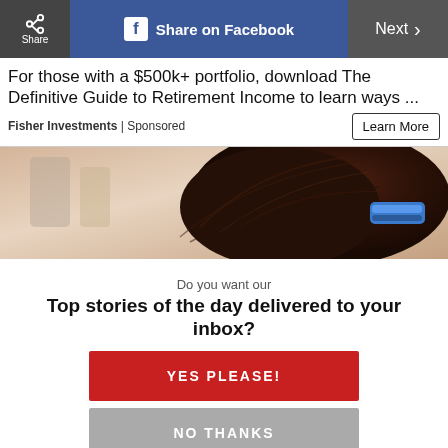[Figure (screenshot): Top navigation bar with Share button, Share on Facebook button, and Next button]
For those with a $500k+ portfolio, download The Definitive Guide to Retirement Income to learn ways ...
Fisher Investments | Sponsored
[Figure (photo): Photo of dark brown hair clipped up with a blue hair clip, blurred background with bottles]
Do you want our
Top stories of the day delivered to your inbox?
YES PLEASE!
NO THANKS